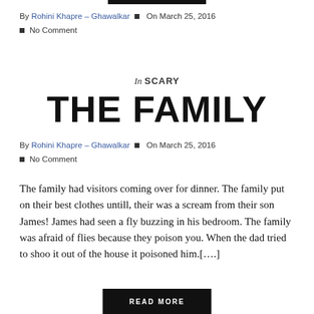By Rohini Khapre – Ghawalkar ■ On March 25, 2016 ■ No Comment
In SCARY
THE FAMILY
By Rohini Khapre – Ghawalkar ■ On March 25, 2016 ■ No Comment
The family had visitors coming over for dinner. The family put on their best clothes untill, their was a scream from their son James! James had seen a fly buzzing in his bedroom. The family was afraid of flies because they poison you. When the dad tried to shoo it out of the house it poisoned him.[….]
READ MORE